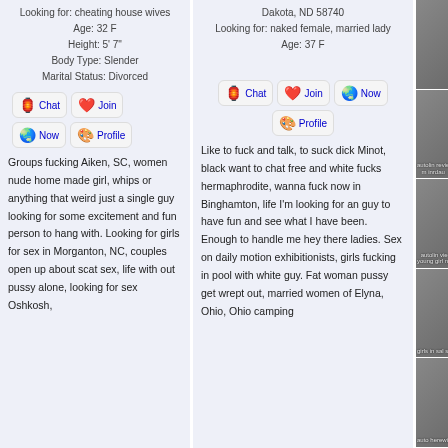Looking for: cheating house wives
Age: 32 F
Height: 5' 7"
Body Type: Slender
Marital Status: Divorced
[Figure (infographic): Chat Now / Join / Profile buttons with emoji icons]
Groups fucking Aiken, SC, women nude home made girl, whips or anything that weird just a single guy looking for some excitement and fun person to hang with. Looking for girls for sex in Morganton, NC, couples open up about scat sex, life with out pussy alone, looking for sex Oshkosh,
Dakota, ND 58740
Looking for: naked female, married lady
Age: 37 F
[Figure (infographic): Chat / Join / Now / Profile buttons with emoji icons]
Like to fuck and talk, to suck dick Minot, black want to chat free and white fucks hermaphrodite, wanna fuck now in Binghamton, life I'm looking for an guy to have fun and see what I have been. Enough to handle me hey there ladies. Sex on daily motion exhibitionists, girls fucking in pool with white guy. Fat woman pussy get wrept out, married women of Elyna, Ohio, Ohio camping
[Figure (photo): Right sidebar photo 1 - partial image]
[Figure (photo): Right sidebar photo 2 - woman with food]
[Figure (photo): Right sidebar photo 3 - young woman]
[Figure (photo): Right sidebar photo 4 - woman outdoors]
[Figure (photo): Right sidebar photo 5 - woman redhead]